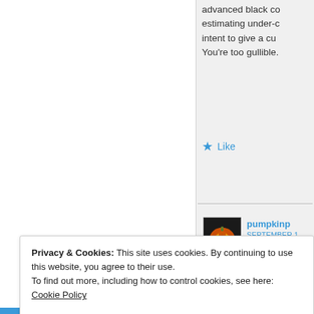advanced black co estimating under-c intent to give a cu You're too gullible.
Like
[Figure (photo): Avatar of user pumpkinp: orange jack-o-lantern pumpkin face on dark background]
pumpkinp
SEPTEMBER 1
RR, Jensen was ma differences before
Like
Privacy & Cookies: This site uses cookies. By continuing to use this website, you agree to their use.
To find out more, including how to control cookies, see here: Cookie Policy
Close and accept